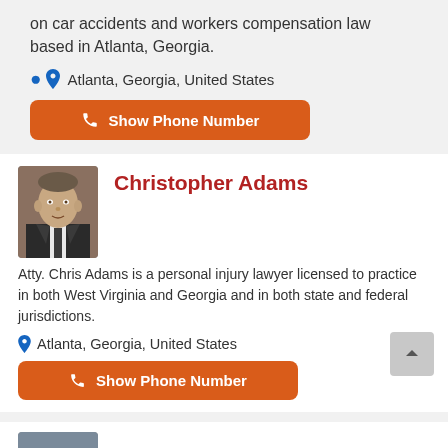on car accidents and workers compensation law based in Atlanta, Georgia.
Atlanta, Georgia, United States
Show Phone Number
Christopher Adams
[Figure (photo): Professional headshot of Christopher Adams, a male attorney in a dark suit]
Atty. Chris Adams is a personal injury lawyer licensed to practice in both West Virginia and Georgia and in both state and federal jurisdictions.
Atlanta, Georgia, United States
Show Phone Number
Scott Monge
[Figure (photo): Partial headshot of Scott Monge at bottom of page]